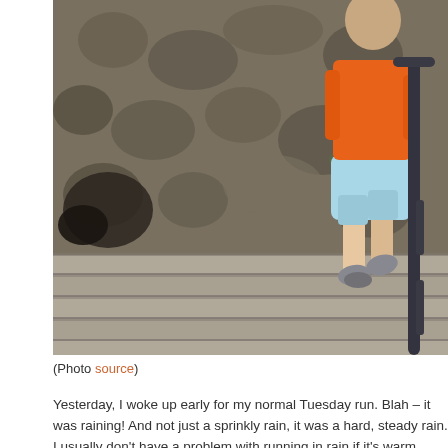[Figure (photo): A person wearing an orange tank top and light blue shorts running up stone steps next to a rocky wall with a dark metal handrail on the right side.]
(Photo source)
Yesterday, I woke up early for my normal Tuesday run. Blah – it was raining! And not just a sprinkly rain, it was a hard, steady rain. I usually don't have a problem with running in rain if it's warm outside. But a hard rain leaves me feeling like a drowned rat – henc